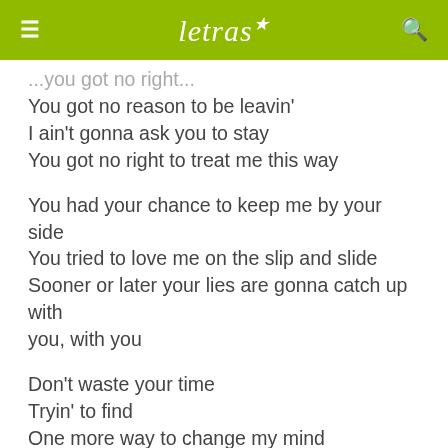letras
You got no reason to be leavin'
I ain't gonna ask you to stay
You got no right to treat me this way
You had your chance to keep me by your side
You tried to love me on the slip and slide
Sooner or later your lies are gonna catch up with you, with you
Don't waste your time
Tryin' to find
One more way to change my mind
You got no right